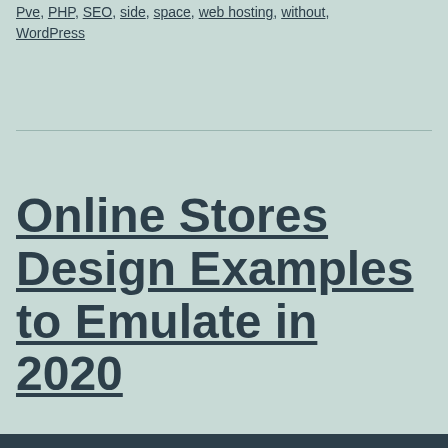Pve, PHP, SEO, side, space, web hosting, without, WordPress
Online Stores Design Examples to Emulate in 2020